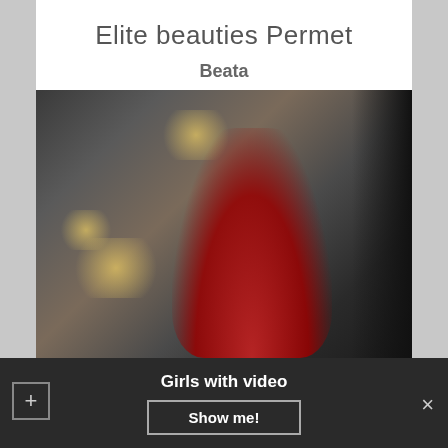Elite beauties Permet
Beata
[Figure (photo): A blonde woman in red lingerie posed in an upscale hotel room interior with large windows and warm lighting.]
Girls with video
Show me!